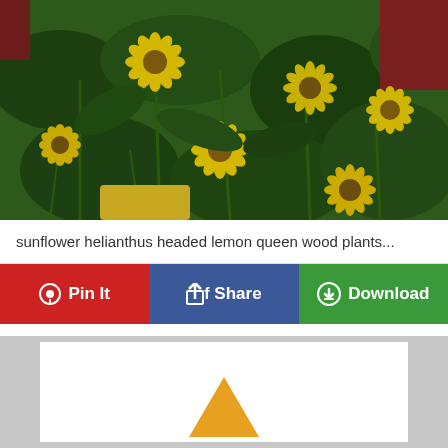[Figure (photo): Photograph of sunflower helianthus lemon queen plants with yellow daisy-like flowers and green foliage against a dark red background]
sunflower helianthus headed lemon queen wood plants...
Pin It | Share | Download
[Figure (illustration): Partial view of a white card or image with an orange/yellow triangle or mountain shape at the bottom center, on a light grey background with darker grey side panels]